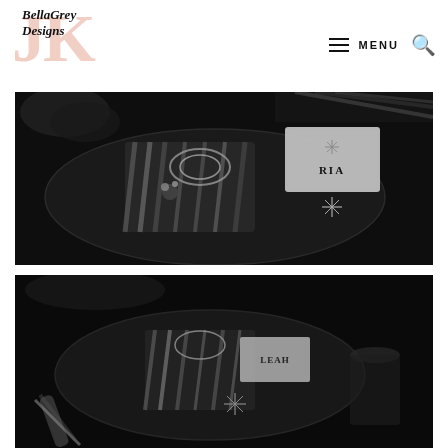[Figure (logo): BellaGrey Designs logo with stylized JK letters in salmon/pink behind script text reading 'BellaGrey Designs']
MENU
[Figure (photo): Black and white photo of an elegant party place setting featuring a dark plate with wrapped gifts/favors in black and white striped paper with ribbons and crystal embellishments, and a name card reading 'RIA' with snowflake decorations]
[Figure (photo): Black and white photo of another party place setting from above, showing a dark plate with wrapped favors, a name card, and black and white striped elements on a dark textured surface]